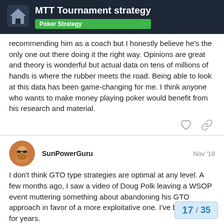MTT Tournament strategy | Poker Strategy
recommending him as a coach but I honestly believe he's the only one out there doing it the right way. Opinions are great and theory is wonderful but actual data on tens of millions of hands is where the rubber meets the road. Being able to look at this data has been game-changing for me. I think anyone who wants to make money playing poker would benefit from his research and material.
SunPowerGuru  Nov '18
I don't think GTO type strategies are optimal at any level. A few months ago, I saw a video of Doug Polk leaving a WSOP event muttering something about abandoning his GTO approach in favor of a more exploitative one. I've been thing for years.